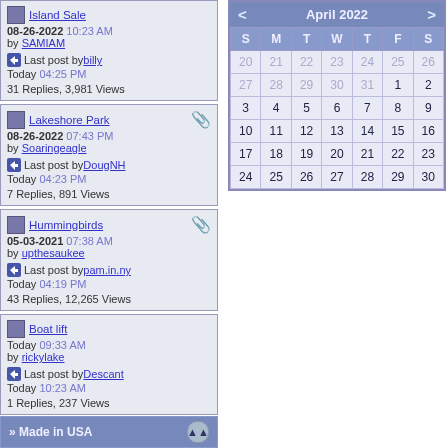Island Sale | 08-26-2022 10:23 AM by SAMIAM | Last post by billy Today 04:25 PM | 31 Replies, 3,981 Views
Lakeshore Park | 08-26-2022 07:43 PM by Soaringeagle | Last post by DougNH Today 04:23 PM | 7 Replies, 891 Views
Hummingbirds | 05-03-2021 07:38 AM by upthesaukee | Last post by pam.in.ny Today 04:19 PM | 43 Replies, 12,265 Views
Boat lift | Today 09:33 AM by rickylake | Last post by Descant Today 10:23 AM | 1 Replies, 237 Views
[Figure (table-as-image): April 2022 calendar widget showing dates 20-30 (prev month), then April 1-30 arranged in a 7-column grid (S M T W T F S)]
» Made in USA